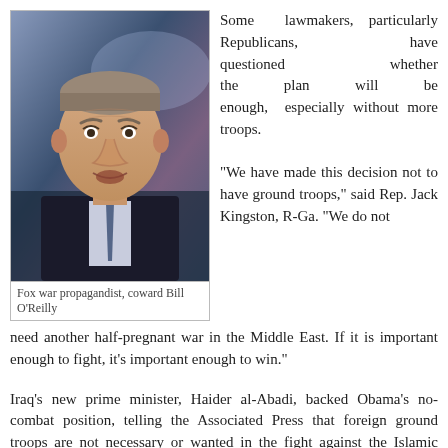[Figure (photo): Headshot of a man in a dark suit and tie, appearing to be speaking or on television; identified as Bill O'Reilly on Fox News]
Fox war propagandist, coward Bill O'Reilly
Some lawmakers, particularly Republicans, have questioned whether the plan will be enough, especially without more troops.

"We have made this decision not to have ground troops," said Rep. Jack Kingston, R-Ga. "We do not need another half-pregnant war in the Middle East. If it is important enough to fight, it's important enough to win."
Iraq's new prime minister, Haider al-Abadi, backed Obama's no-combat position, telling the Associated Press that foreign ground troops are not necessary or wanted in the fight against the Islamic State.